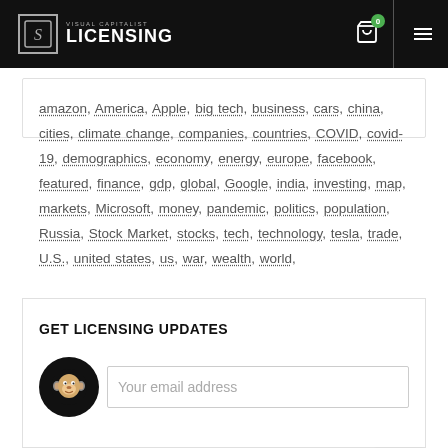Visual Capitalist Licensing
amazon, America, Apple, big tech, business, cars, china, cities, climate change, companies, countries, COVID, covid-19, demographics, economy, energy, europe, facebook, featured, finance, gdp, global, Google, india, investing, map, markets, Microsoft, money, pandemic, politics, population, Russia, Stock Market, stocks, tech, technology, tesla, trade, U.S., united states, us, war, wealth, world,
GET LICENSING UPDATES
Your email address